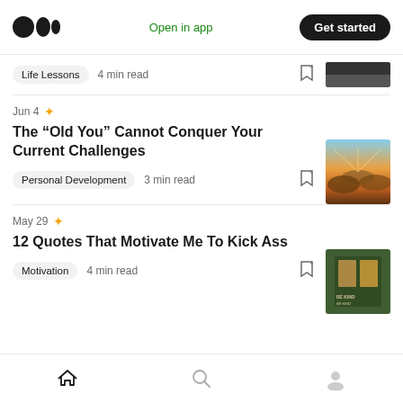Medium logo | Open in app | Get started
Life Lessons  4 min read
Jun 4 ✦
The “Old You” Cannot Conquer Your Current Challenges
Personal Development  3 min read
May 29 ✦
12 Quotes That Motivate Me To Kick Ass
Motivation  4 min read
Home | Search | Profile